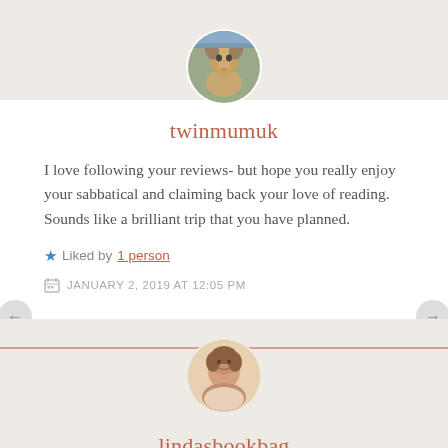[Figure (photo): Circular avatar photo of a German Shepherd dog sitting outdoors]
twinmumuk
I love following your reviews- but hope you really enjoy your sabbatical and claiming back your love of reading. Sounds like a brilliant trip that you have planned.
★ Liked by 1 person
JANUARY 2, 2019 AT 12:05 PM
[Figure (photo): Circular avatar photo of a woman, smiling, indoors]
lindasbookbag